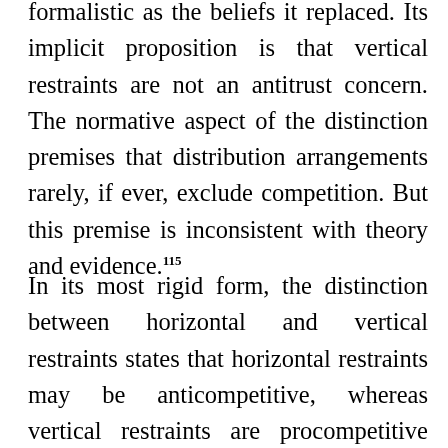formalistic as the beliefs it replaced. Its implicit proposition is that vertical restraints are not an antitrust concern. The normative aspect of the distinction premises that distribution arrangements rarely, if ever, exclude competition. But this premise is inconsistent with theory and evidence.115
In its most rigid form, the distinction between horizontal and vertical restraints states that horizontal restraints may be anticompetitive, whereas vertical restraints are procompetitive and tend to enhance